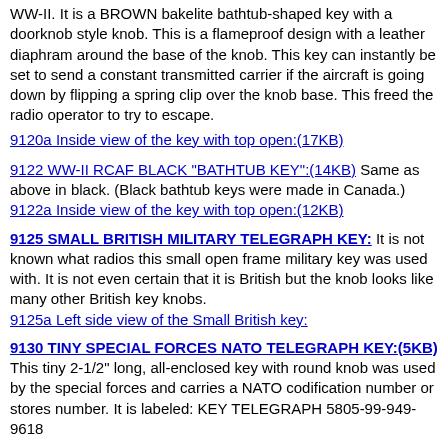WW-II. It is a BROWN bakelite bathtub-shaped key with a doorknob style knob. This is a flameproof design with a leather diaphram around the base of the knob. This key can instantly be set to send a constant transmitted carrier if the aircraft is going down by flipping a spring clip over the knob base. This freed the radio operator to try to escape.
9120a Inside view of the key with top open:(17KB)
9122 WW-II RCAF BLACK "BATHTUB KEY":(14KB) Same as above in black. (Black bathtub keys were made in Canada.)
9122a Inside view of the key with top open:(12KB)
9125 SMALL BRITISH MILITARY TELEGRAPH KEY: It is not known what radios this small open frame military key was used with. It is not even certain that it is British but the knob looks like many other British key knobs.
9125a Left side view of the Small British key:
9130 TINY SPECIAL FORCES NATO TELEGRAPH KEY:(5KB) This tiny 2-1/2" long, all-enclosed key with round knob was used by the special forces and carries a NATO codification number or stores number. It is labeled: KEY TELEGRAPH 5805-99-949-9618
9140 BRITISH "KEY, WT. 8 AMP" MILITARY KEYS: (20KB) This key (sometimes called the WT 8-Amp Key) was made in over